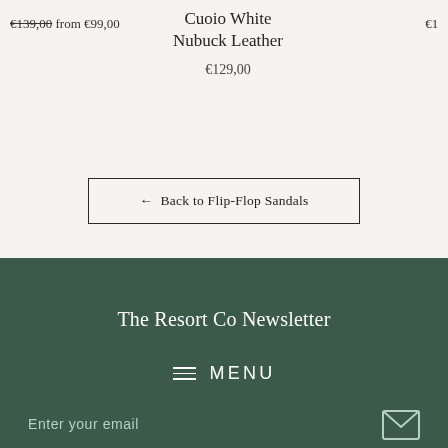€139,00 from €99,00
Cuoio White Nubuck Leather €129,00
€1...
← Back to Flip-Flop Sandals
The Resort Co Newsletter
≡ MENU
Enter your email